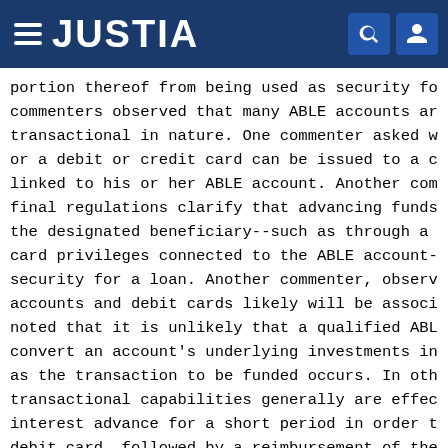JUSTIA
portion thereof from being used as security fo commenters observed that many ABLE accounts ar transactional in nature. One commenter asked w or a debit or credit card can be issued to a c linked to his or her ABLE account. Another com final regulations clarify that advancing funds the designated beneficiary--such as through a card privileges connected to the ABLE account- security for a loan. Another commenter, observ accounts and debit cards likely will be associ noted that it is unlikely that a qualified ABL convert an account's underlying investments in as the transaction to be funded occurs. In oth transactional capabilities generally are effec interest advance for a short period in order t debit card, followed by a reimbursement of the generated by the liquidation of the investment